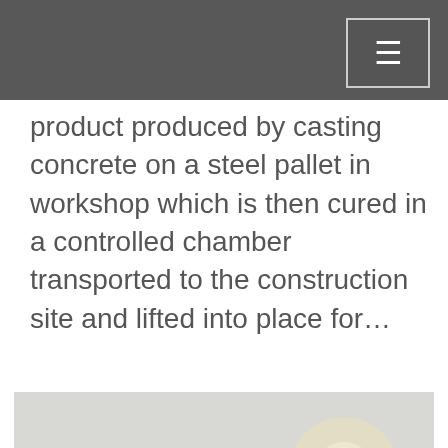product produced by casting concrete on a steel pallet in workshop which is then cured in a controlled chamber transported to the construction site and lifted into place for…
[Figure (photo): Photograph of an industrial precast concrete factory exterior showing green-painted buildings with towers, silos, conveyor structures, vehicles parked in front, taken against a bright sky.]